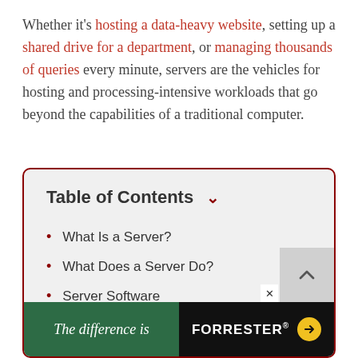Whether it's hosting a data-heavy website, setting up a shared drive for a department, or managing thousands of queries every minute, servers are the vehicles for hosting and processing-intensive workloads that go beyond the capabilities of a traditional computer.
Table of Contents
What Is a Server?
What Does a Server Do?
Server Software
Server Operating Systems